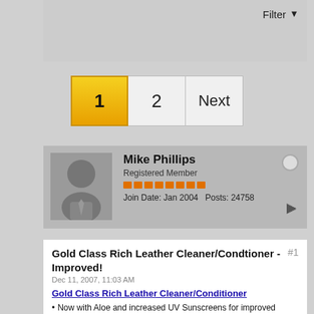[Figure (screenshot): Filter button with dropdown arrow in top right of grey bar]
[Figure (screenshot): Pagination bar with buttons: 1 (active/highlighted yellow), 2, Next]
[Figure (screenshot): User profile card for Mike Phillips, Registered Member, Join Date: Jan 2004, Posts: 24758, with avatar and reputation bars]
Gold Class Rich Leather Cleaner/Condtioner - Improved!
Dec 11, 2007, 11:03 AM
Gold Class Rich Leather Cleaner/Conditioner
New Improvements for 2008
Now with Aloe and increased UV Sunscreens for improved conditioning and protection.
UV Sunscreens prevent the absorption of the sun's rays. The heat is dispersed along the surface which helps prevent premature aging and fading.
Aloe helps maintain moisture from softening and drying the leather.